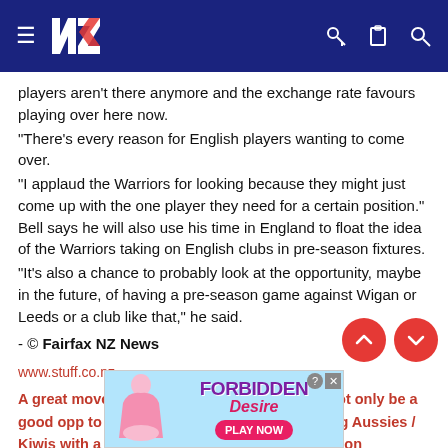NZ Warriors navigation header
players aren't there anymore and the exchange rate favours playing over here now.
"There's every reason for English players wanting to come over.
"I applaud the Warriors for looking because they might just come up with the one player they need for a certain position." Bell says he will also use his time in England to float the idea of the Warriors taking on English clubs in pre-season fixtures.
"It's also a chance to probably look at the opportunity, maybe in the future, of having a pre-season game against Wigan or Leeds or a club like that," he said.
- © Fairfax NZ News
www.stuff.co.nz
A great move but it has taken a while. Would not only be a good opp to pick Englishmen but also returning Aussies / Kiwis with a season or two left i.e. Kevin Campion
[Figure (other): Advertisement banner for 'Forbidden Desire' game with 'PLAY NOW' button]